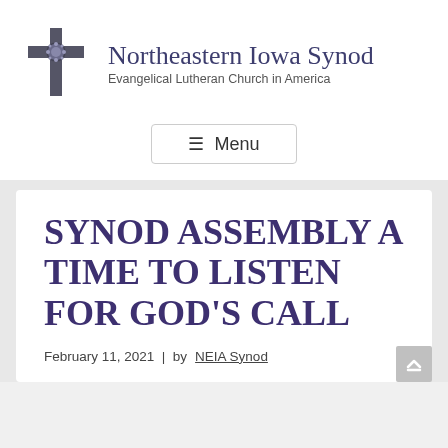[Figure (logo): Northeastern Iowa Synod cross logo with decorative circular center element, dark gray colored cross]
Northeastern Iowa Synod
Evangelical Lutheran Church in America
≡  Menu
SYNOD ASSEMBLY A TIME TO LISTEN FOR GOD'S CALL
February 11, 2021  |  by NEIA Synod